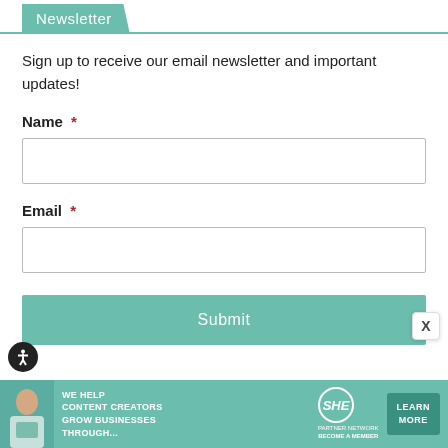Newsletter
Sign up to receive our email newsletter and important updates!
Name *
Email *
Submit
[Figure (infographic): Advertisement banner for SHE Media Partner Network: 'We help content creators grow businesses through...' with a Learn More button]
[Figure (illustration): Accessibility button (wheelchair icon) in bottom left]
[Figure (other): Close X button]